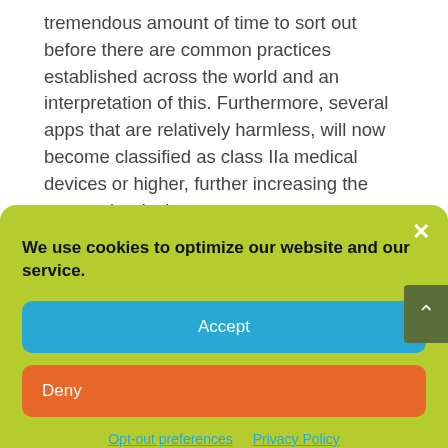tremendous amount of time to sort out before there are common practices established across the world and an interpretation of this. Furthermore, several apps that are relatively harmless, will now become classified as class IIa medical devices or higher, further increasing the cost and reducing access to
[Figure (screenshot): Cookie consent banner with green background, showing bold text 'We use cookies to optimize our website and our service.' with Accept (blue) and Deny (orange) buttons, and links to Opt-out preferences and Privacy Policy.]